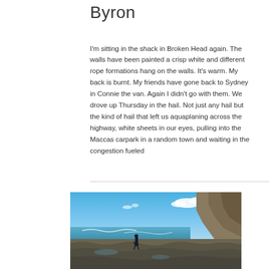Byron
I'm sitting in the shack in Broken Head again. The walls have been painted a crisp white and different rope formations hang on the walls. It's warm. My back is burnt. My friends have gone back to Sydney in Connie the van. Again I didn't go with them. We drove up Thursday in the hail. Not just any hail but the kind of hail that left us aquaplaning across the highway, white sheets in our eyes, pulling into the Maccas carpark in a random town and waiting in the congestion fueled
[Figure (photo): A person standing on rocky coastal terrain with ocean waves and a bright blue sky with white clouds in the background. Rocky cliffs visible on the right side.]